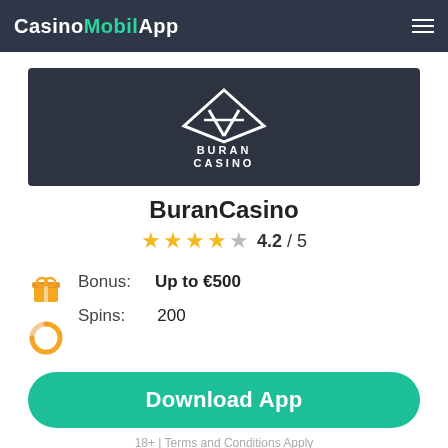CasinoMobilApp
[Figure (logo): Buran Casino logo on dark background - geometric angular diamond/triangle logo with text BURAN CASINO below]
BuranCasino
4.2 / 5 (4 filled stars, 1 empty star)
Bonus: Up to €500
Spins: 200
Download App
18+ | Terms and Conditions Apply